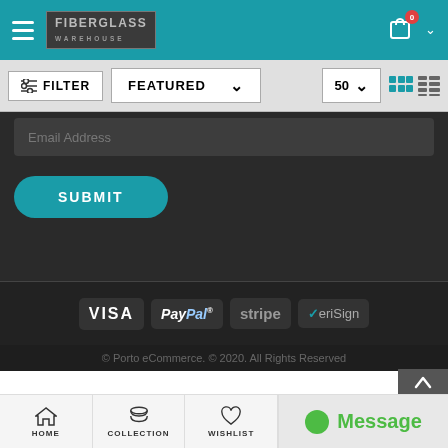Fiberglass Warehouse — Navigation Header
FILTER  FEATURED  50
Email Address
SUBMIT
[Figure (logo): Payment logos: VISA, PayPal, stripe, VeriSign]
© Porto eCommerce. © 2020. All Rights Reserved
HOME  COLLECTION  WISHLIST  Message